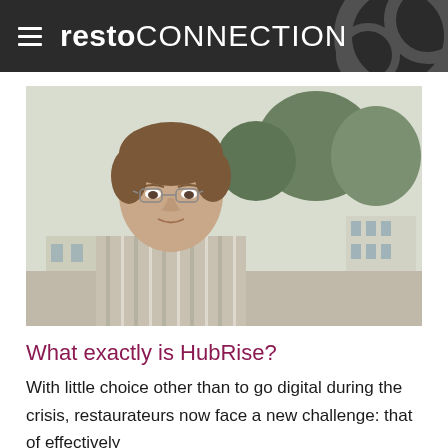restoCONNECTION
[Figure (photo): Portrait photo of a middle-aged man with glasses, wearing a striped shirt, outdoors with trees and buildings in the background.]
What exactly is HubRise?
With little choice other than to go digital during the crisis, restaurateurs now face a new challenge: that of effectively